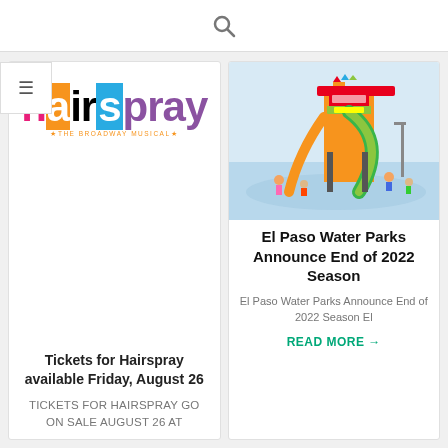🔍
[Figure (logo): Hairspray The Broadway Musical logo with colorful stylized letters]
Tickets for Hairspray available Friday, August 26
TICKETS FOR HAIRSPRAY GO ON SALE AUGUST 26 AT
[Figure (photo): El Paso water park with colorful slides, green water slide tower, children playing in water]
El Paso Water Parks Announce End of 2022 Season
El Paso Water Parks Announce End of 2022 Season El
READ MORE →